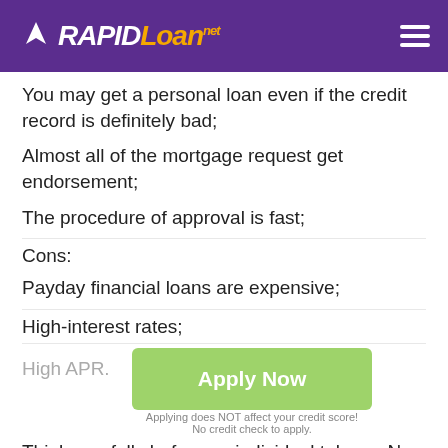RAPIDLoan.net
You may get a personal loan even if the credit record is definitely bad;
Almost all of the mortgage request get endorsement;
The procedure of approval is fast;
Cons:
Payday financial loans are expensive;
High-interest rates;
High APR.
Think carefully before an individual take an New Albany payday loan. Produce your current financial matters plus take a mortgage only when you happen to be sure that